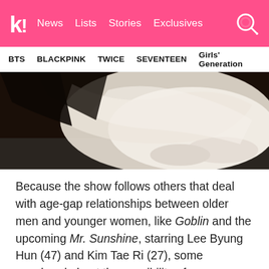k! News Lists Stories Exclusives
BTS BLACKPINK TWICE SEVENTEEN Girls' Generation
[Figure (photo): Close-up photo of a person wearing white traditional Korean clothing (hanbok), showing the lower portion of the garment and white shoes against a dark background floor.]
Because the show follows others that deal with age-gap relationships between older men and younger women, like Goblin and the upcoming Mr. Sunshine, starring Lee Byung Hun (47) and Kim Tae Ri (27), some wondered about the possibility of a conspiracy headed by older men.
“From Mr. Sunshine to My Ahjussi —